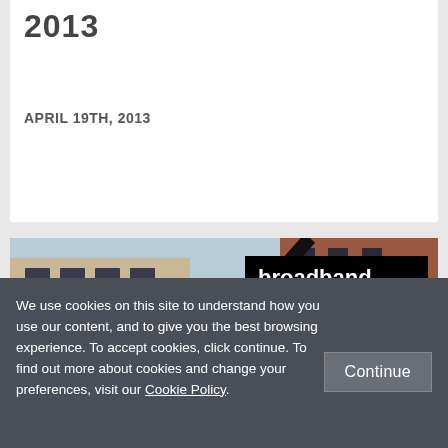2013
APRIL 19TH, 2013
[Figure (photo): LSE (London School of Economics) red triangular sign mounted on a building facade, photographed from below against a clear sky, with brick buildings in the background. A black tag overlay reads 'broadband'.]
We use cookies on this site to understand how you use our content, and to give you the best browsing experience. To accept cookies, click continue. To find out more about cookies and change your preferences, visit our Cookie Policy.